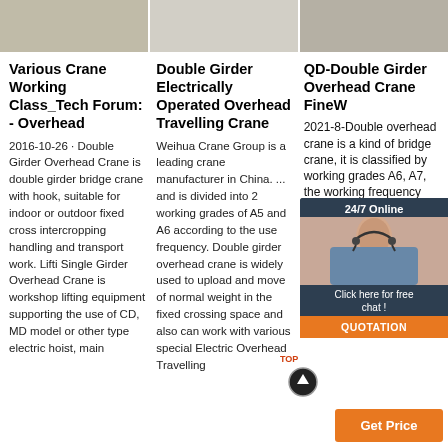[Figure (photo): Three product/industrial images at the top of the page in a row]
Various Crane Working Class_Tech Forum: - Overhead
2016-10-26 · Double Girder Overhead Crane is double girder bridge crane with hook, suitable for indoor or outdoor fixed cross intercropping handling and transport work. Lifti Single Girder Overhead Crane is workshop lifting equipment supporting the use of CD, MD model or other type electric hoist, main
Double Girder Electrically Operated Overhead Travelling Crane
Weihua Crane Group is a leading crane manufacturer in China. ... and is divided into 2 working grades of A5 and A6 according to the use frequency. Double girder overhead crane is widely used to upload and move of normal weight in the fixed crossing space and also can work with various special Electric Overhead Travelling
QD-Double Girder Overhead Crane FineW
2021-8-Double overhead crane is a kind of bridge crane, it is classified by working grades A6, A7, the working frequency and pure working time. Lifting Capacity: 5~500t. Span Length: 10.5~31.5m. Lifting Height: 6~30m
[Figure (infographic): 24/7 Online chat widget with female operator avatar, Click here for free chat button, and QUOTATION button in orange]
[Figure (other): Get Price orange button and TOP scroll-up button]